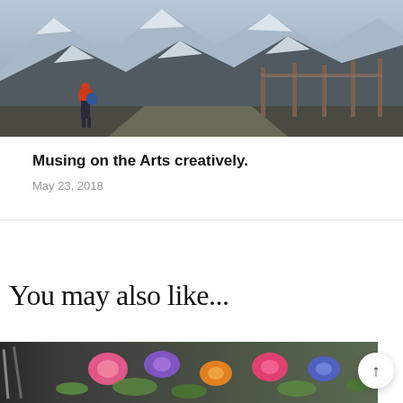[Figure (photo): Mountain landscape with a person wearing a red jacket and blue backpack standing in front of wooden gate structures, snow-capped mountains in background]
Musing on the Arts creatively.
May 23, 2018
You may also like...
[Figure (photo): Watercolor painting with colorful flowers and a pencil/brush visible, warm colors including pink, purple, and orange blooms]